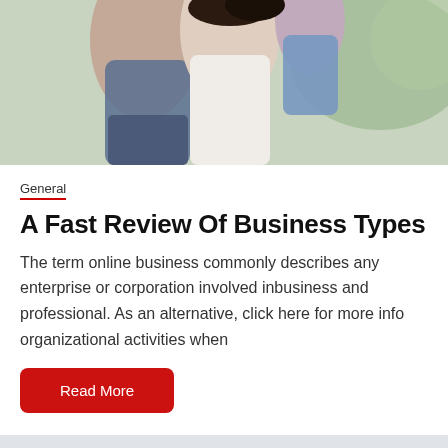[Figure (photo): Family photo showing adults and a child outdoors, cropped to show upper portion]
General
A Fast Review Of Business Types
The term online business commonly describes any enterprise or corporation involved inbusiness and professional. As an alternative, click here for more info organizational activities when
Read More
[Figure (photo): Partial photo of a person visible at the bottom of the page, background with warm tones]